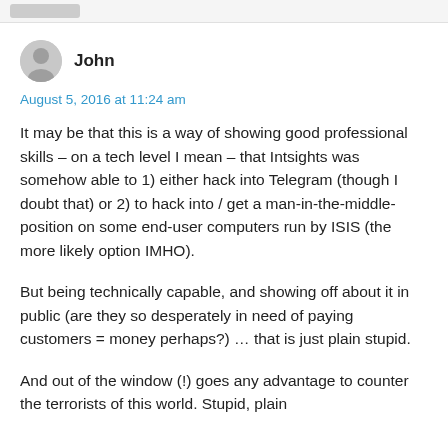[Figure (other): Gray button/bar at top of page]
John
August 5, 2016 at 11:24 am
It may be that this is a way of showing good professional skills – on a tech level I mean – that Intsights was somehow able to 1) either hack into Telegram (though I doubt that) or 2) to hack into / get a man-in-the-middle-position on some end-user computers run by ISIS (the more likely option IMHO).
But being technically capable, and showing off about it in public (are they so desperately in need of paying customers = money perhaps?) … that is just plain stupid.
And out of the window (!) goes any advantage to counter the terrorists of this world. Stupid, plain